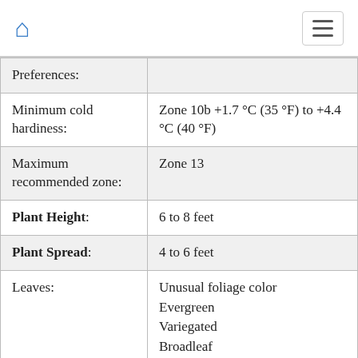Home / Menu
| Preferences: |  |
| Minimum cold hardiness: | Zone 10b +1.7 °C (35 °F) to +4.4 °C (40 °F) |
| Maximum recommended zone: | Zone 13 |
| Plant Height: | 6 to 8 feet |
| Plant Spread: | 4 to 6 feet |
| Leaves: | Unusual foliage color
Evergreen
Variegated
Broadleaf |